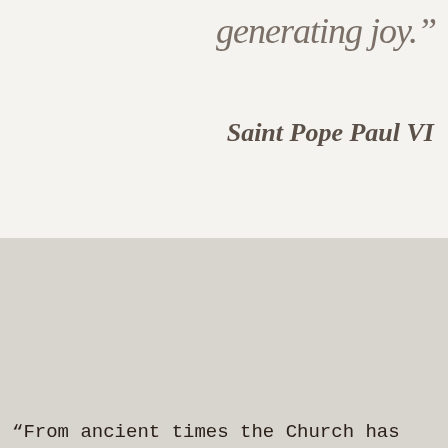generating joy.”
Saint Pope Paul VI
[Figure (photo): Dark photograph of people holding candles and papers, with a liturgy definition overlay reading: liturgy - "the participation of the People of God in 'the work of God'" - CCC 1069]
“From ancient times the Church has